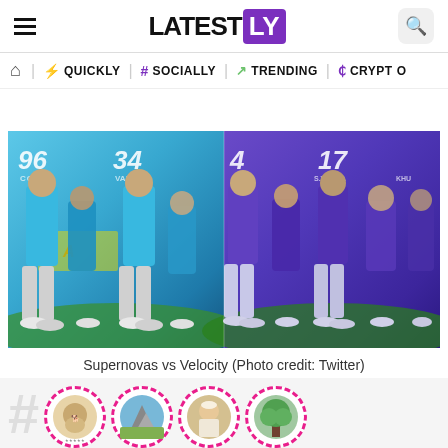LATESTLY — navigation header with hamburger menu, logo, and search button
QUICKLY | # SOCIALLY | TRENDING | CRYPTO
[Figure (photo): Split image showing two women's cricket teams: left side shows players in cyan/blue jerseys with numbers 96 and 34 (CGUS, VASTO labels), right side shows players in purple jerseys with numbers 4 and 17 (S.VERMA, KHU labels). Supernovas vs Velocity match.]
Supernovas vs Velocity (Photo credit: Twitter)
[Figure (infographic): Bottom social/trending row with a large # hash symbol and four circular profile images with magenta dashed borders: dog/puppy, mountain landscape, Modi, tree/nature scene]